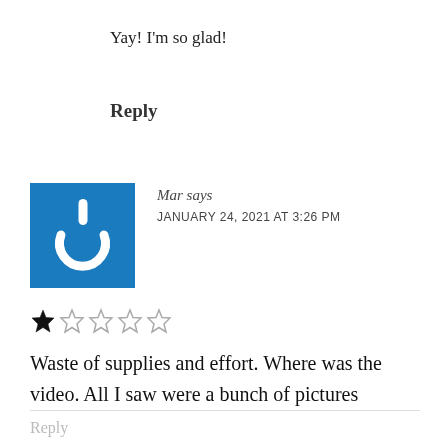Yay! I'm so glad!
Reply
[Figure (logo): Blue square avatar with white power button icon]
Mar says
JANUARY 24, 2021 AT 3:26 PM
[Figure (other): 1 out of 5 stars rating: one filled star and four empty stars]
Waste of supplies and effort. Where was the video. All I saw were a bunch of pictures
Reply